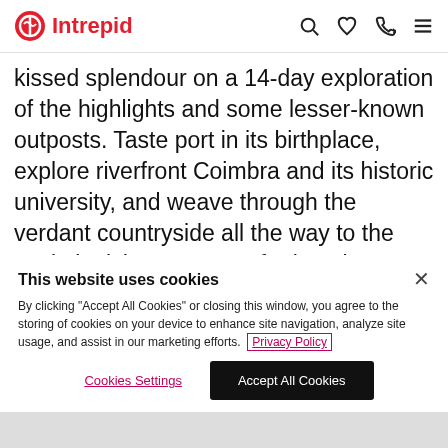Intrepid
kissed splendour on a 14-day exploration of the highlights and some lesser-known outposts. Taste port in its birthplace, explore riverfront Coimbra and its historic university, and weave through the verdant countryside all the way to the capital, Lisbon. Venture far into the Atlantic to see the rolling blue hydrangeas of Faial, the steep cliffs of Sao Jorge and the black volcanic soil under the vines...
This website uses cookies
By clicking "Accept All Cookies" or closing this window, you agree to the storing of cookies on your device to enhance site navigation, analyze site usage, and assist in our marketing efforts. Privacy Policy
Cookies Settings   Accept All Cookies